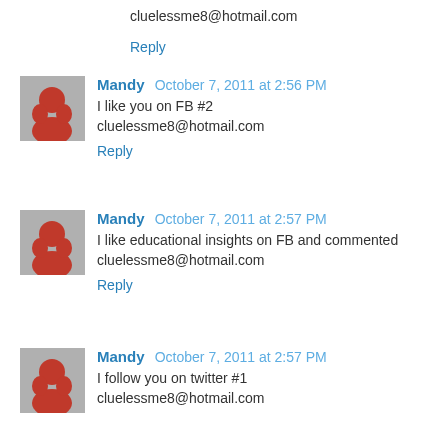cluelessme8@hotmail.com
Reply
Mandy  October 7, 2011 at 2:56 PM
I like you on FB #2
cluelessme8@hotmail.com
Reply
Mandy  October 7, 2011 at 2:57 PM
I like educational insights on FB and commented
cluelessme8@hotmail.com
Reply
Mandy  October 7, 2011 at 2:57 PM
I follow you on twitter #1
cluelessme8@hotmail.com